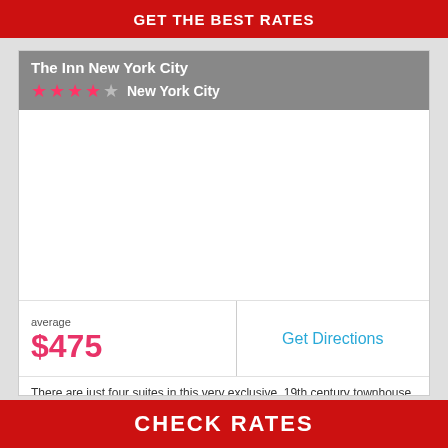GET THE BEST RATES
The Inn New York City
New York City
[Figure (photo): Hotel image area (white/blank)]
average
$475
Get Directions
There are just four suites in this very exclusive, 19th century townhouse Inn located on the upper West Side.
CHECK RATES